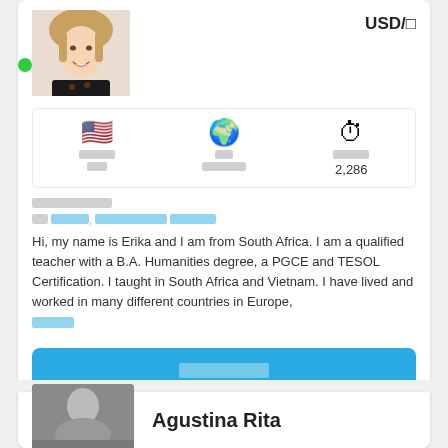USD/□
[Figure (photo): Profile photo of a woman smiling, with a green online indicator dot]
| [flag emoji US] | [globe emoji] | [stopwatch emoji] |
| □□□□ | □□ | □□□□ |
| □□ | □□□□□□ | 2,286 |
□□□□□□□□:
□□ □□□□□, □□□□□□□□□ □□□□□
Hi, my name is Erika and I am from South Africa. I am a qualified teacher with a B.A. Humanities degree, a PGCE and TESOL Certification. I taught in South Africa and Vietnam. I have lived and worked in many different countries in Europe,
□□□□□
□□□□□□□□□
[Figure (photo): Profile photo of a woman, partially visible at bottom of page]
Agustina Rita